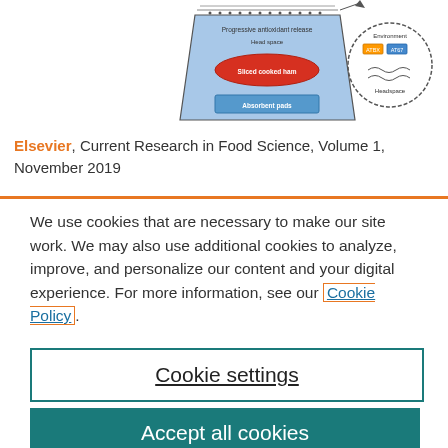[Figure (illustration): Diagram showing progressive antioxidant release system with a tray containing sliced cooked ham and absorbent pads, with headspace indicated and a circular inset showing environment, ATBX, ATGT labels]
Elsevier, Current Research in Food Science, Volume 1, November 2019
We use cookies that are necessary to make our site work. We may also use additional cookies to analyze, improve, and personalize our content and your digital experience. For more information, see our Cookie Policy.
Cookie settings
Accept all cookies